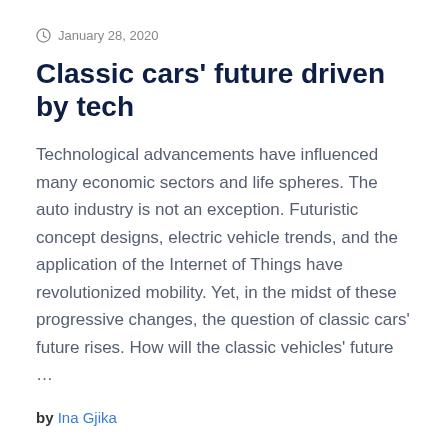January 28, 2020
Classic cars’ future driven by tech
Technological advancements have influenced many economic sectors and life spheres. The auto industry is not an exception. Futuristic concept designs, electric vehicle trends, and the application of the Internet of Things have revolutionized mobility. Yet, in the midst of these progressive changes, the question of classic cars’ future rises. How will the classic vehicles’ future …
by Ina Gjika